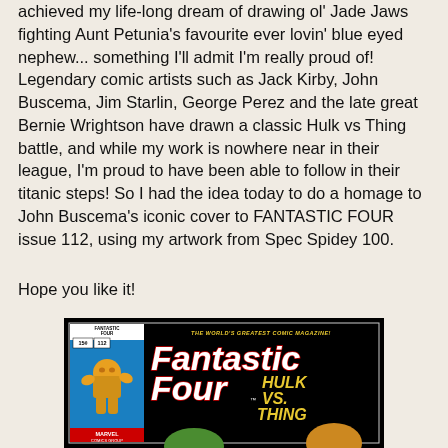achieved my life-long dream of drawing ol' Jade Jaws fighting Aunt Petunia's favourite ever lovin' blue eyed nephew... something I'll admit I'm really proud of! Legendary comic artists such as Jack Kirby, John Buscema, Jim Starlin, George Perez and the late great Bernie Wrightson have drawn a classic Hulk vs Thing battle, and while my work is nowhere near in their league, I'm proud to have been able to follow in their titanic steps! So I had the idea today to do a homage to John Buscema's iconic cover to FANTASTIC FOUR issue 112, using my artwork from Spec Spidey 100.
Hope you like it!
[Figure (illustration): Comic book cover homage showing Fantastic Four issue 112 with 'Fantastic Four' title in white italic letters, 'HULK VS THING' in yellow text on black background, with The Thing figure on the left side blue panel and partial figures at bottom]